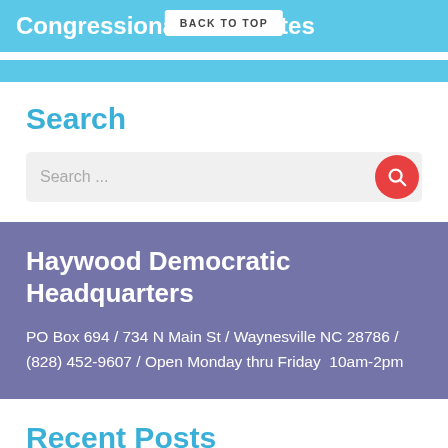Congressional Candidates
Search
Search ...
Haywood Democratic Headquarters
PO Box 694 / 734 N Main St / Waynesville NC 28786 / (828) 452-9607 / Open Monday thru Friday  10am-2pm
Recent Posts